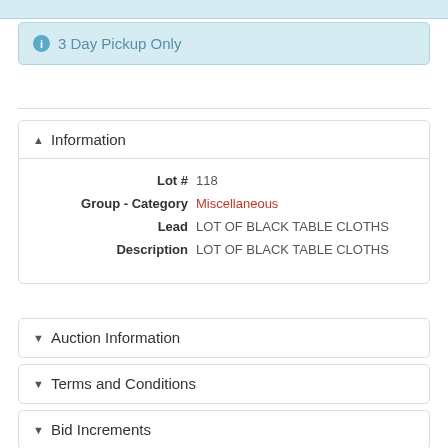ℹ 3 Day Pickup Only
▲ Information
| Lot # | 118 |
| Group - Category | Miscellaneous |
| Lead | LOT OF BLACK TABLE CLOTHS |
| Description | LOT OF BLACK TABLE CLOTHS |
▼ Auction Information
▼ Terms and Conditions
▼ Bid Increments